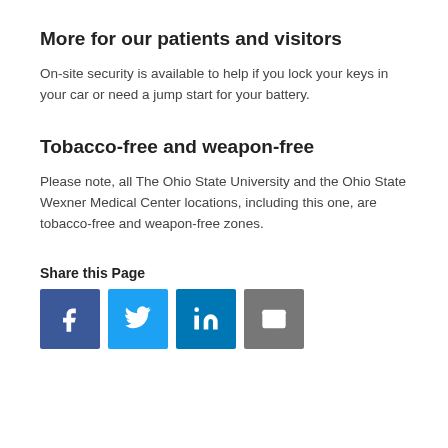More for our patients and visitors
On-site security is available to help if you lock your keys in your car or need a jump start for your battery.
Tobacco-free and weapon-free
Please note, all The Ohio State University and the Ohio State Wexner Medical Center locations, including this one, are tobacco-free and weapon-free zones.
Share this Page
[Figure (infographic): Social sharing buttons: Facebook, Twitter, LinkedIn, Email]